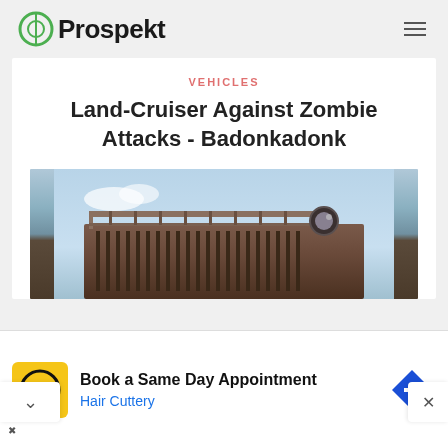Prospekt
VEHICLES
Land-Cruiser Against Zombie Attacks - Badonkadonk
[Figure (photo): Top-down view of a rusted Land Cruiser vehicle roof rack with metal bars against a blue sky]
Book a Same Day Appointment
Hair Cuttery